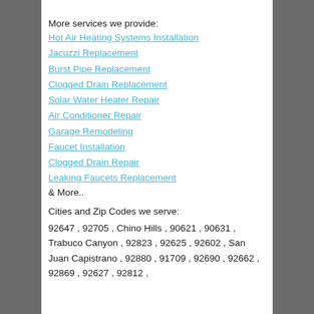More services we provide:
Hot Air Heating Systems Installation
Jacuzzi Replacement
Burst Pipe Replacement
Clogged Drain Replacement
Solar Water Heater Repair
Air Conditioner Repair
Garage Remodeling
Faucet Installation
Clogged Drain Repair
Leaking Faucets Replacement
& More..
Cities and Zip Codes we serve:
92647 , 92705 , Chino Hills , 90621 , 90631 , Trabuco Canyon , 92823 , 92625 , 92602 , San Juan Capistrano , 92880 , 91709 , 92690 , 92662 , 92869 , 92627 , 92812 ,